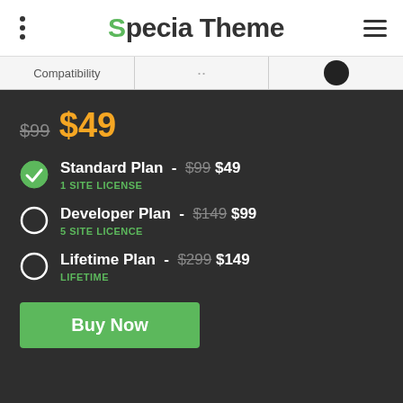Specia Theme
Compatibility
$99 $49
Standard Plan - $99 $49 | 1 SITE LICENSE
Developer Plan - $149 $99 | 5 SITE LICENCE
Lifetime Plan - $299 $149 | LIFETIME
Buy Now